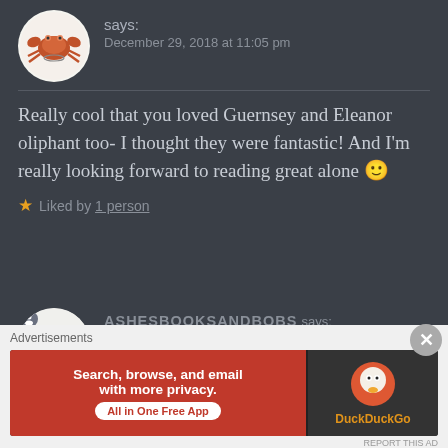[Figure (illustration): Circular avatar image with a crab illustration on white background]
says:
December 29, 2018 at 11:05 pm
Really cool that you loved Guernsey and Eleanor oliphant too- I thought they were fantastic! And I'm really looking forward to reading great alone 🙂
Liked by 1 person
[Figure (illustration): Circular avatar with ASHES BOOKS & BOBS logo and small user icon overlay]
ASHESBOOKSANDBOBS says:
December 29, 2018 at 11:54 pm
Advertisements
[Figure (screenshot): DuckDuckGo advertisement banner: 'Search, browse, and email with more privacy. All in One Free App' on orange/red background with DuckDuckGo duck logo on dark right side]